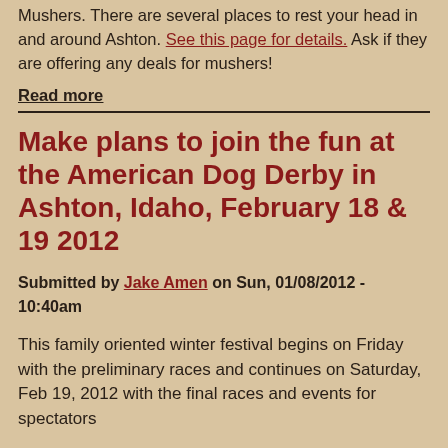Mushers. There are several places to rest your head in and around Ashton. See this page for details. Ask if they are offering any deals for mushers!
Read more
Make plans to join the fun at the American Dog Derby in Ashton, Idaho, February 18 & 19 2012
Submitted by Jake Amen on Sun, 01/08/2012 - 10:40am
This family oriented winter festival begins on Friday with the preliminary races and continues on Saturday, Feb 19, 2012 with the final races and events for spectators